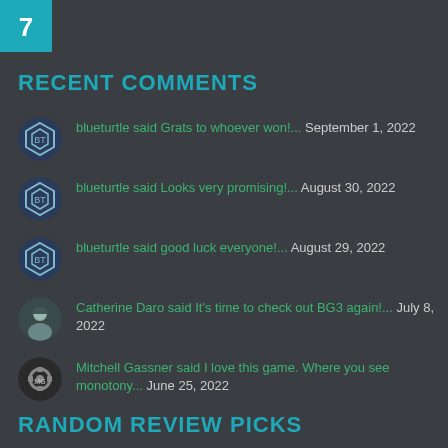[Figure (logo): Teal square badge with number 7]
RECENT COMMENTS
blueturtle said Grats to whoever won!... September 1, 2022
blueturtle said Looks very promising!... August 30, 2022
blueturtle said good luck everyone!... August 29, 2022
Catherine Daro said It's time to check out BG3 again!... July 8, 2022
Mitchell Gassner said I love this game. Where you see monotony... June 25, 2022
RANDOM REVIEW PICKS